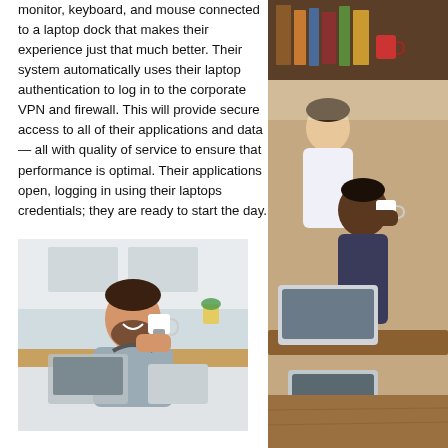monitor, keyboard, and mouse connected to a laptop dock that makes their experience just that much better. Their system automatically uses their laptop authentication to log in to the corporate VPN and firewall. This will provide secure access to all of their applications and data — all with quality of service to ensure that performance is optimal. Their applications open, logging in using their laptops credentials; they are ready to start the day.
[Figure (photo): Man with beard sitting at a home office desk, smiling with eyes closed, holding a white coffee mug, wearing a grey hoodie with headphones around his neck, with a laptop and tablet on the desk, kitchen visible in background]
[Figure (photo): Two people at a cafe or coffee shop working on laptops, one appears to be drinking from a cup]